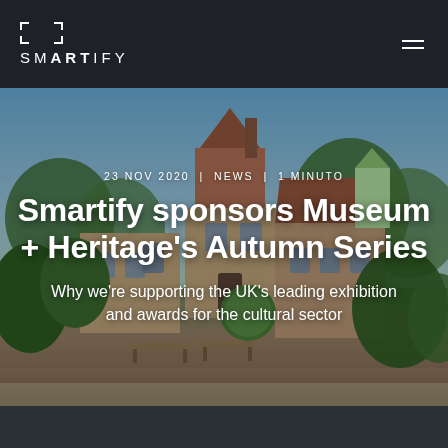SMARTIFY
[Figure (photo): Exterior view of a traditional English countryside manor/heritage building with brick and tile roof, surrounded by lush green trees and garden, wooden benches visible in foreground, blue sky background]
23 NOV 2020  |  NEWS  |  1 MINUTO
Smartify sponsors Museum + Heritage's Autumn Series
Why we're supporting the UK's leading exhibition and awards for the cultural sector